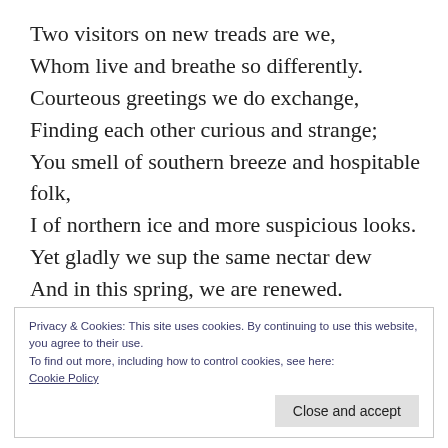Two visitors on new treads are we,
Whom live and breathe so differently.
Courteous greetings we do exchange,
Finding each other curious and strange;
You smell of southern breeze and hospitable folk,
I of northern ice and more suspicious looks.
Yet gladly we sup the same nectar dew
And in this spring, we are renewed.
From cocooned sleep we’ve both shed the past
Privacy & Cookies: This site uses cookies. By continuing to use this website, you agree to their use.
To find out more, including how to control cookies, see here:
Cookie Policy
Close and accept